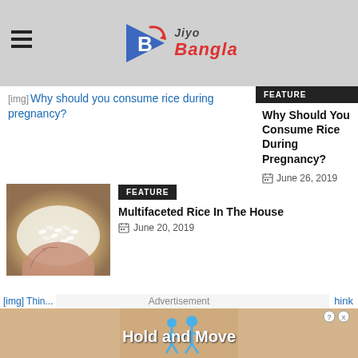Jiyo Bangla
[Figure (screenshot): Broken image placeholder with alt text: Why should you consume rice during pregnancy?]
Why should you consume rice during pregnancy?
FEATURE
Why Should You Consume Rice During Pregnancy?
June 26, 2019
[Figure (photo): Hands holding white rice grains]
FEATURE
Multifaceted Rice In The House
June 20, 2019
Advertisement
[Figure (screenshot): Advertisement banner: Hold and Move with figures]
Think